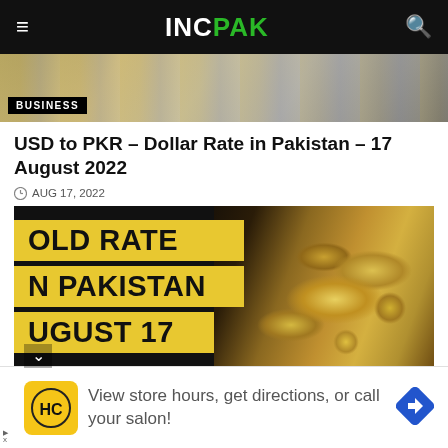INCPAK
[Figure (photo): US dollar banknotes spread out, with BUSINESS badge overlay]
USD to PKR – Dollar Rate in Pakistan – 17 August 2022
AUG 17, 2022
[Figure (infographic): Gold Rate in Pakistan August 17 banner with gold bars image on dark background]
[Figure (photo): Advertisement: HC logo. View store hours, get directions, or call your salon!]